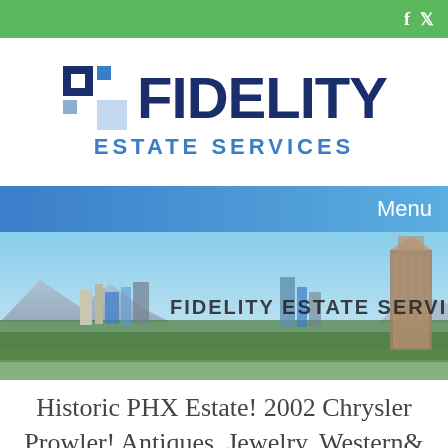f  t
[Figure (logo): Fidelity Estate Services logo with blue square mosaic icon and bold dark navy FIDELITY text, with ESTATE SERVICES subtitle in blue]
Menu
[Figure (photo): Phoenix city skyline panoramic banner with blue sky, mountains, trees and tall buildings. Text overlay: FIDELITY ESTATE SERVICES]
Historic PHX Estate! 2002 Chrysler Prowler! Antiques, Jewelry, Western&